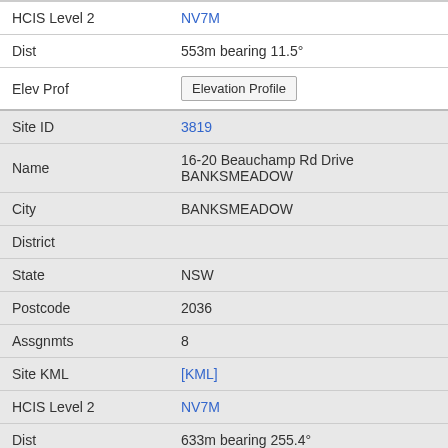| Field | Value |
| --- | --- |
| HCIS Level 2 | NV7M |
| Dist | 553m bearing 11.5° |
| Elev Prof | Elevation Profile |
| Site ID | 3819 |
| Name | 16-20 Beauchamp Rd Drive BANKSMEADOW |
| City | BANKSMEADOW |
| District |  |
| State | NSW |
| Postcode | 2036 |
| Assgnmts | 8 |
| Site KML | [KML] |
| HCIS Level 2 | NV7M |
| Dist | 633m bearing 255.4° |
| Elev Prof | Elevation Profile |
| Site ID | 9011724 |
| Name | Qenos 16-20 Beauchamp Road BANKSMEADOW |